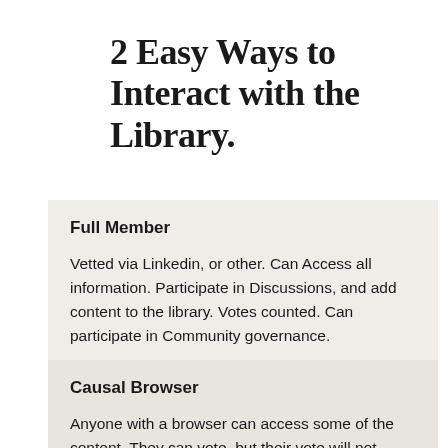2 Easy Ways to Interact with the Library.
Full Member
Vetted via Linkedin, or other.  Can Access all information.  Participate in Discussions, and add content to the library.  Votes counted. Can participate in Community governance.
Causal Browser
Anyone with a browser can access some of the content.  They can vote, but their vote will not count because they are not vetted.